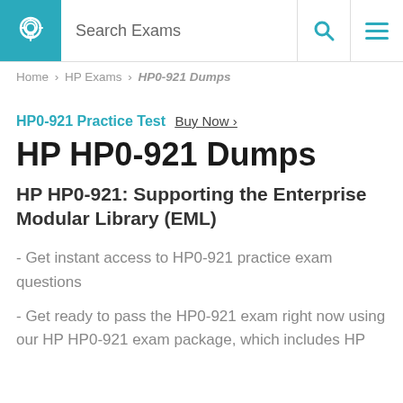Search Exams
Home > HP Exams > HP0-921 Dumps
HP0-921 Practice Test Buy Now >
HP HP0-921 Dumps
HP HP0-921: Supporting the Enterprise Modular Library (EML)
- Get instant access to HP0-921 practice exam questions
- Get ready to pass the HP0-921 exam right now using our HP HP0-921 exam package, which includes HP